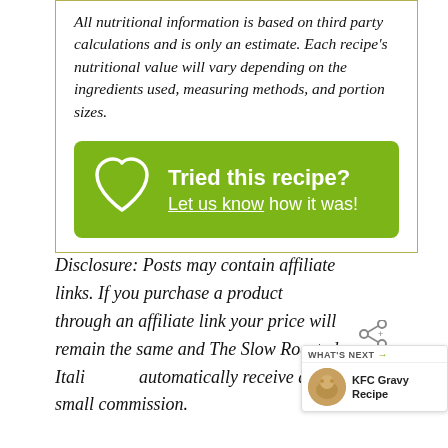All nutritional information is based on third party calculations and is only an estimate. Each recipe's nutritional value will vary depending on the ingredients used, measuring methods, and portion sizes.
[Figure (infographic): Green banner with heart icon saying 'Tried this recipe? Let us know how it was!']
Disclosure: Posts may contain affiliate links. If you purchase a product through an affiliate link your price will remain the same and The Slow Roasted Itali automatically receive a small commission.